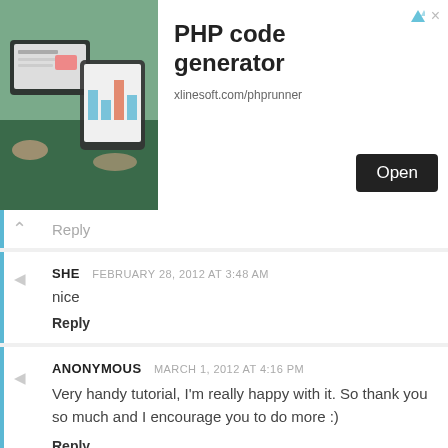[Figure (screenshot): Advertisement banner for PHP code generator by xlinesoft.com/phprunner with an Open button and a photo of tablets/laptops]
Reply
SHE  FEBRUARY 28, 2012 AT 3:48 AM
nice
Reply
ANONYMOUS  MARCH 1, 2012 AT 4:16 PM
Very handy tutorial, I'm really happy with it. So thank you so much and I encourage you to do more :)
Reply
SKIPPER  MARCH 12, 2012 AT 1:45 PM
Awsome tutorial. Thnks.
Reply